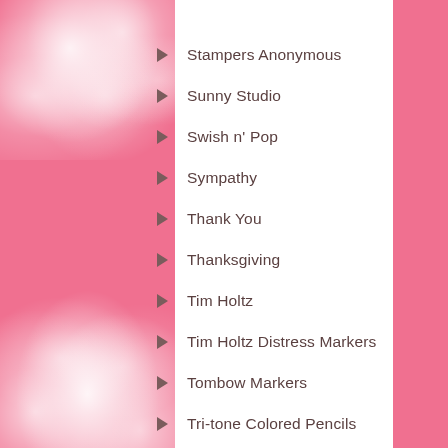Stampers Anonymous
Sunny Studio
Swish n' Pop
Sympathy
Thank You
Thanksgiving
Tim Holtz
Tim Holtz Distress Markers
Tombow Markers
Tri-tone Colored Pencils
Uncategorized
Valentine Cards